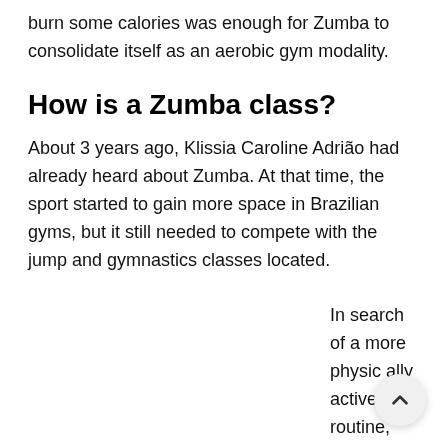burn some calories was enough for Zumba to consolidate itself as an aerobic gym modality.
How is a Zumba class?
About 3 years ago, Klissia Caroline Adrião had already heard about Zumba. At that time, the sport started to gain more space in Brazilian gyms, but it still needed to compete with the jump and gymnastics classes located.
In search of a more physically active routine,